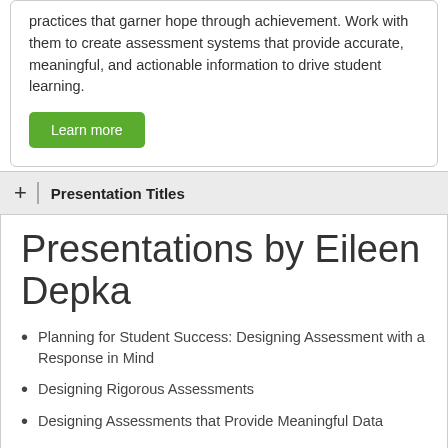practices that garner hope through achievement. Work with them to create assessment systems that provide accurate, meaningful, and actionable information to drive student learning.
Learn more
+ | Presentation Titles
Presentations by Eileen Depka
Planning for Student Success: Designing Assessment with a Response in Mind
Designing Rigorous Assessments
Designing Assessments that Provide Meaningful Data